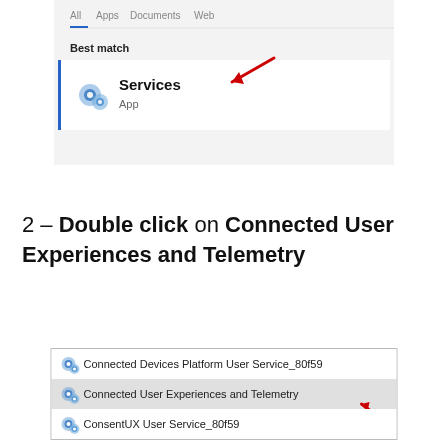[Figure (screenshot): Windows search result showing 'Services' App as best match, with a red arrow pointing to it]
2 – Double click on Connected User Experiences and Telemetry
[Figure (screenshot): Windows Services list showing 'Connected Devices Platform User Service_80f59', 'Connected User Experiences and Telemetry' (highlighted), and 'ConsentUX User Service_80f59', with a red arrow pointing to the highlighted row]